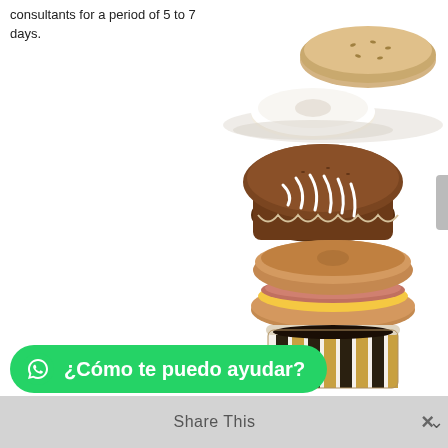consultants for a period of 5 to 7 days.
[Figure (photo): Stacked food items including donuts on a plate, a chocolate muffin with white icing drizzle, a bagel breakfast sandwich with ham and egg, and a coffee cup with striped design, arranged vertically from top to bottom on a white background.]
¿Cómo te puedo ayudar?
Share This